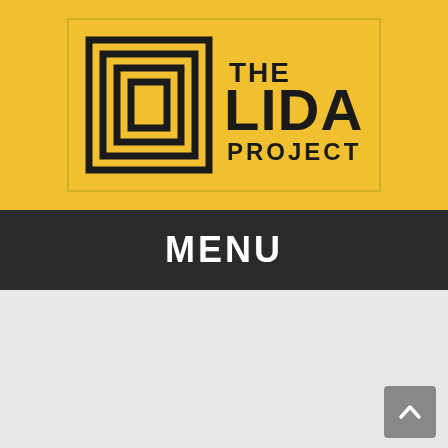[Figure (logo): The LIDA Project logo on a yellow background with nested square bracket graphic and bold text reading THE LIDA PROJECT]
MENU
[Figure (other): Back to top arrow button, gray rounded rectangle with upward chevron]